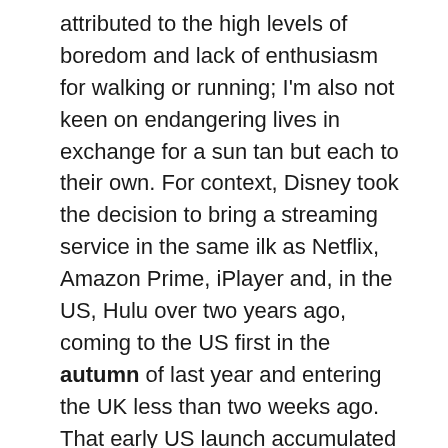attributed to the high levels of boredom and lack of enthusiasm for walking or running; I'm also not keen on endangering lives in exchange for a sun tan but each to their own. For context, Disney took the decision to bring a streaming service in the same ilk as Netflix, Amazon Prime, iPlayer and, in the US, Hulu over two years ago, coming to the US first in the autumn of last year and entering the UK less than two weeks ago. That early US launch accumulated 28 million subscribers for Disney+, thanks in part to agreements such as the one with Verizon that offered the service free for a year. Similar agreements have been struck with